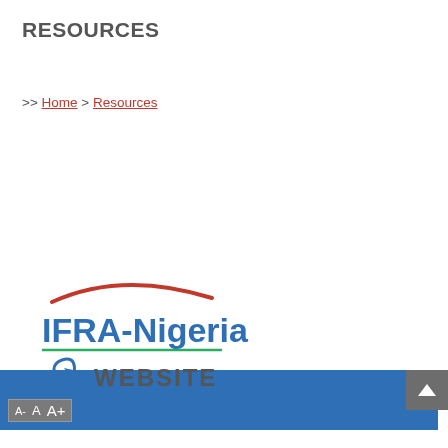RESOURCES
>> Home > Resources
[Figure (screenshot): Blue navigation bar with font size controls (A- A A+) on the left and a scroll-up arrow button on the right]
[Figure (logo): IFRA-Nigeria WEBSITE logo with red swoosh arc above, blue text IFRA-Nigeria, green underline, blue arrow and grey WEBSITE text below]